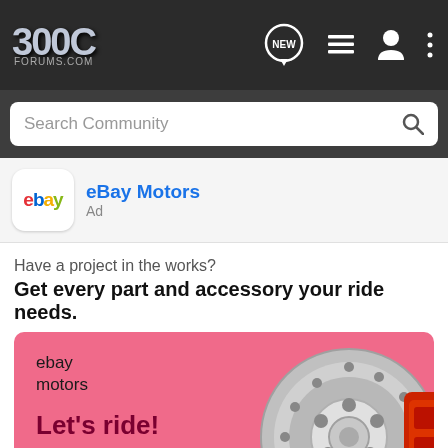300C FORUMS.COM
Search Community
[Figure (logo): eBay logo in a white rounded square box]
eBay Motors
Ad
Have a project in the works?
Get every part and accessory your ride needs.
[Figure (illustration): eBay Motors advertisement on pink background showing 'Let's ride!' with car brake disc and red Brembo caliper, chrome exhaust pipe parts. Text: ebay motors, Let's ride!]